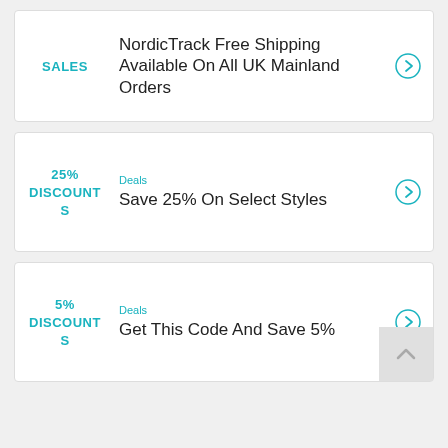SALES
NordicTrack Free Shipping Available On All UK Mainland Orders
Deals
25% DISCOUNTS
Save 25% On Select Styles
Deals
5% DISCOUNTS
Get This Code And Save 5%